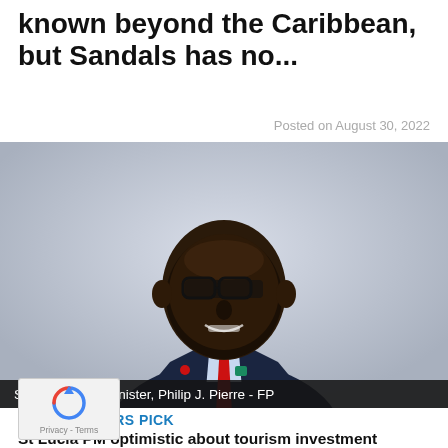known beyond the Caribbean, but Sandals has no...
Posted on August 30, 2022
[Figure (photo): Professional headshot of St Lucia prime minister Philip J. Pierre wearing a dark navy suit with a red tie, glasses, smiling against a light grey background.]
St Lucia prime minister, Philip J. Pierre - FP
ITORS PICK
St Lucia PM optimistic about tourism investment